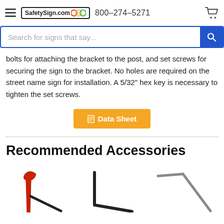SafetySign.com  800–274–5271
Search for signs that say...
bolts for attaching the bracket to the post, and set screws for securing the sign to the bracket. No holes are required on the street name sign for installation. A 5/32" hex key is necessary to tighten the set screws.
Data Sheet
Recommended Accessories
[Figure (photo): Three hex keys/Allen wrenches shown: a red T-handle hex key on the left, a standard black L-shaped Allen wrench in the center, and a long-arm grey/silver Allen wrench on the right.]